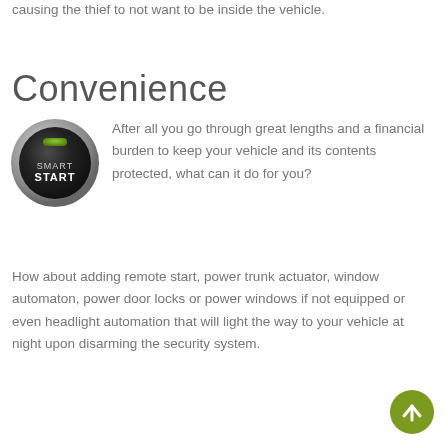causing the thief to not want to be inside the vehicle.
Convenience
[Figure (logo): Smart Start button logo — a circular metallic button with SMART START text on a dark background]
After all you go through great lengths and a financial burden to keep your vehicle and its contents protected, what can it do for you? How about adding remote start, power trunk actuator, window automaton, power door locks or power windows if not equipped or even headlight automation that will light the way to your vehicle at night upon disarming the security system.
[Figure (other): Olive green circular scroll-to-top button with upward arrow]